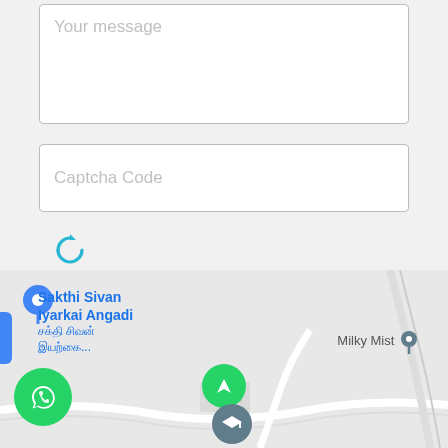[Figure (screenshot): Textarea input field with placeholder text 'Your message']
[Figure (screenshot): Captcha code input field with placeholder text 'Captcha Code']
[Figure (screenshot): Refresh/reload icon in blue]
[Figure (screenshot): Green 'Send Message' button]
[Figure (map): Google Maps partial view showing Sakthi Sivan Iyarkai Angadi location marker, WhatsApp floating button, navigation arrow, Milky Mist location pin, and education icon]